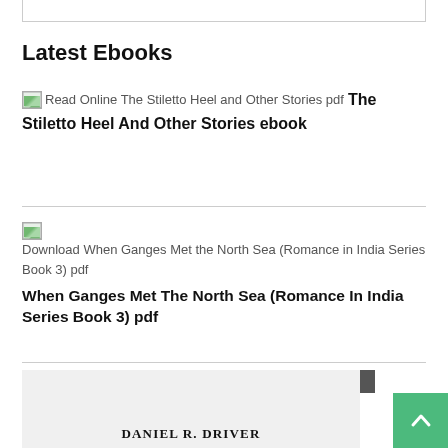Latest Ebooks
Read Online The Stiletto Heel and Other Stories pdf
The Stiletto Heel And Other Stories ebook
Download When Ganges Met the North Sea (Romance in India Series Book 3) pdf
When Ganges Met The North Sea (Romance In India Series Book 3) pdf
[Figure (photo): Book cover preview showing author name DANIEL R. DRIVER, partially visible at bottom of page]